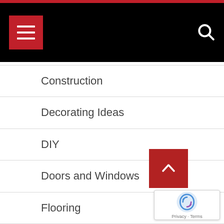Navigation menu header with hamburger menu button and search icon
Construction
Decorating Ideas
DIY
Doors and Windows
Flooring
Furniture
Heating and Air Conditioning
Home and Garden
Home Contractor